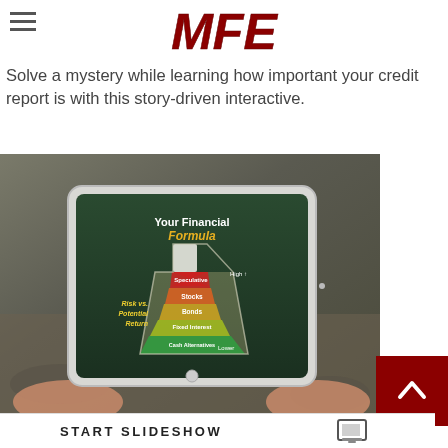[Figure (logo): MFE logo in dark red/maroon italic bold letters]
Solve a mystery while learning how important your credit report is with this story-driven interactive.
[Figure (photo): Hands holding a tablet displaying 'Your Financial Formula' infographic with a beaker/flask showing Risk vs. Potential Return layers: Speculative, Stocks, Bonds, Fixed Interest, Cash Alternatives from high to low risk]
START SLIDESHOW